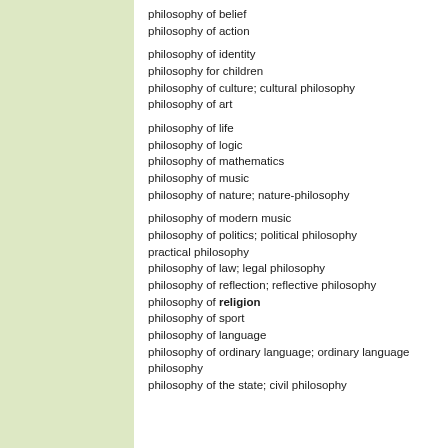philosophy of belief
philosophy of action
philosophy of identity
philosophy for children
philosophy of culture; cultural philosophy
philosophy of art
philosophy of life
philosophy of logic
philosophy of mathematics
philosophy of music
philosophy of nature; nature-philosophy
philosophy of modern music
philosophy of politics; political philosophy
practical philosophy
philosophy of law; legal philosophy
philosophy of reflection; reflective philosophy
philosophy of religion
philosophy of sport
philosophy of language
philosophy of ordinary language; ordinary language philosophy
philosophy of the state; civil philosophy